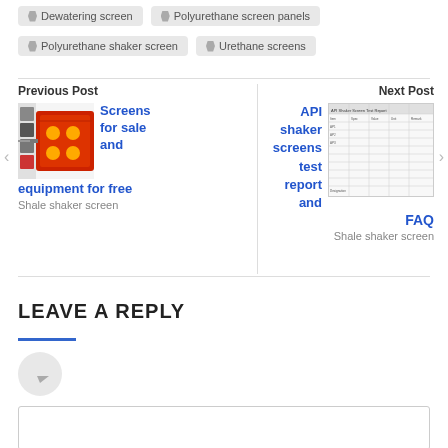Dewatering screen
Polyurethane screen panels
Polyurethane shaker screen
Urethane screens
Previous Post
Screens for sale and equipment for free
Shale shaker screen
[Figure (photo): Red shale shaker screen equipment photo]
Next Post
API shaker screens test report and FAQ
Shale shaker screen
[Figure (table-as-image): API shaker screens test report table thumbnail]
LEAVE A REPLY